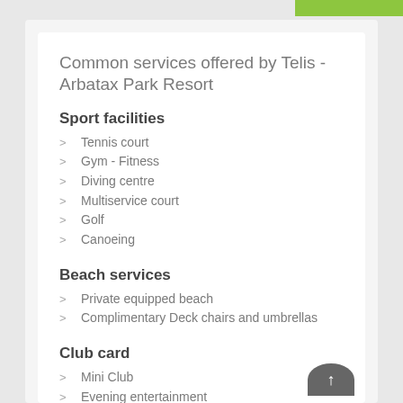Common services offered by Telis - Arbatax Park Resort
Sport facilities
Tennis court
Gym - Fitness
Diving centre
Multiservice court
Golf
Canoeing
Beach services
Private equipped beach
Complimentary Deck chairs and umbrellas
Club card
Mini Club
Evening entertainment
Junior Club
AcquaGym
Baby club